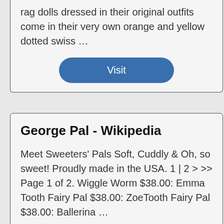rag dolls dressed in their original outfits come in their very own orange and yellow dotted swiss …
Visit
George Pal - Wikipedia
Meet Sweeters' Pals Soft, Cuddly & Oh, so sweet! Proudly made in the USA. 1 | 2 > >> Page 1 of 2. Wiggle Worm $38.00: Emma Tooth Fairy Pal $38.00: ZoeTooth Fairy Pal $38.00: Ballerina …
Visit